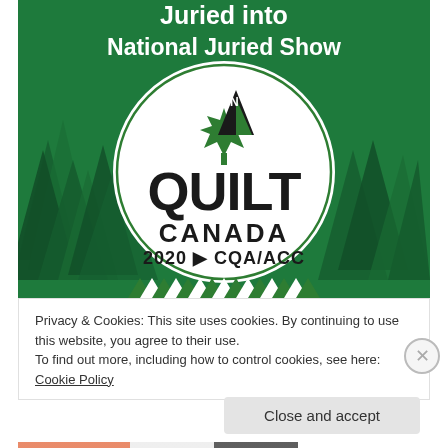[Figure (logo): Quilt Canada 2020 CQA/ACC National Juried Show banner with green forest background, white title text 'Juried into National Juried Show', and circular Quilt Canada 2020 CQA/ACC logo with maple leaf and compass arrow]
Privacy & Cookies: This site uses cookies. By continuing to use this website, you agree to their use.
To find out more, including how to control cookies, see here: Cookie Policy
Close and accept